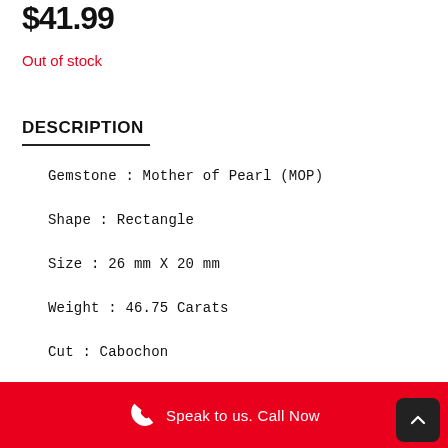$41.99
Out of stock
DESCRIPTION
Gemstone : Mother of Pearl (MOP)
Shape : Rectangle
Size : 26 mm X 20 mm
Weight : 46.75 Carats
Cut : Cabochon
Speak to us. Call Now